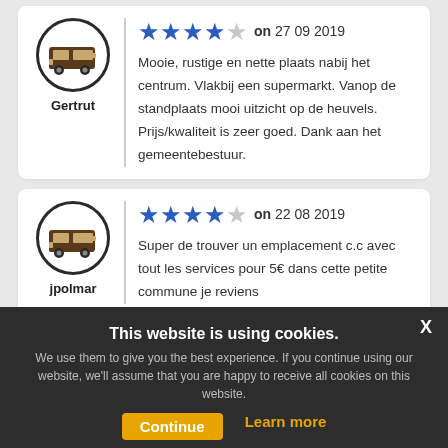[Figure (illustration): Review card for user Gertrut with 4-star rating on 27 09 2019 and a camper van avatar icon]
Mooie, rustige en nette plaats nabij het centrum. Vlakbij een supermarkt. Vanop de standplaats mooi uitzicht op de heuvels. Prijs/kwaliteit is zeer goed. Dank aan het gemeentebestuur.
[Figure (illustration): Review card for user jpolmar with 4-star rating on 22 08 2019 and a camper van avatar icon]
Super de trouver un emplacement c.c avec tout les services pour 5€ dans cette petite commune je reviens d'un périple dans le vaucluse dommage que dans ce departament nous avons trouvé tres peu de village ou apps d'areas cc pour recevoir dumobile home prendre sures. Learn more
This website is using cookies. We use them to give you the best experience. If you continue using our website, we'll assume that you are happy to receive all cookies on this website. Continue  Learn more